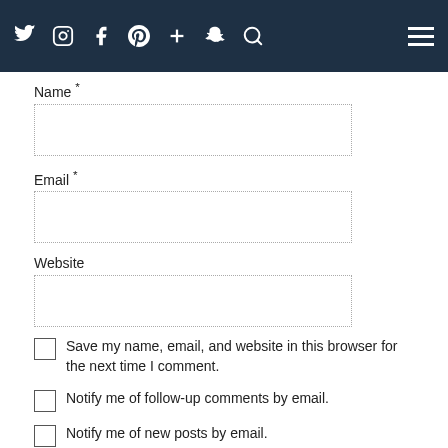Social media icons: Twitter, Instagram, Facebook, Pinterest, Plus, Snapchat, Search, Menu
Name *
[Figure (other): Text input field for Name]
Email *
[Figure (other): Text input field for Email]
Website
[Figure (other): Text input field for Website]
Save my name, email, and website in this browser for the next time I comment.
Notify me of follow-up comments by email.
Notify me of new posts by email.
POST COMMENT
This site uses Akismet to reduce spam. Learn how your comment data is